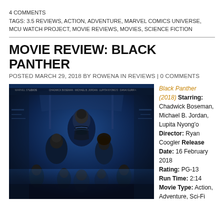4 COMMENTS
TAGS: 3.5 REVIEWS, ACTION, ADVENTURE, MARVEL COMICS UNIVERSE, MCU WATCH PROJECT, MOVIE REVIEWS, MOVIES, SCIENCE FICTION
MOVIE REVIEW: BLACK PANTHER
POSTED MARCH 29, 2018 BY ROWENA IN REVIEWS | 0 COMMENTS
[Figure (photo): Black Panther (2018) movie poster showing Chadwick Boseman as Black Panther and cast members against a blue background with Wakandan architecture]
Black Panther (2018) Starring: Chadwick Boseman, Michael B. Jordan, Lupita Nyong'o Director: Ryan Coogler Release Date: 16 February 2018 Rating: PG-13 Run Time: 2:14 Movie Type: Action, Adventure, Sci-Fi